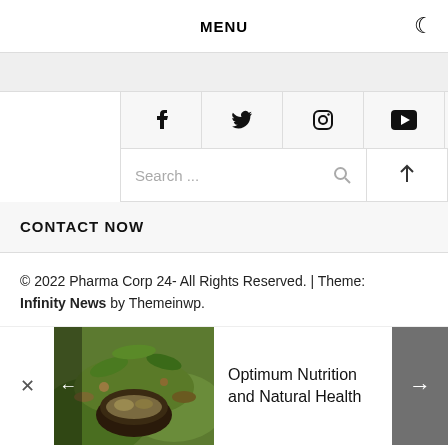MENU
[Figure (illustration): Social media icons row: Facebook, Twitter, Instagram, YouTube]
Search ...
CONTACT NOW
© 2022 Pharma Corp 24- All Rights Reserved. | Theme: Infinity News by Themeinwp.
Optimum Nutrition and Natural Health